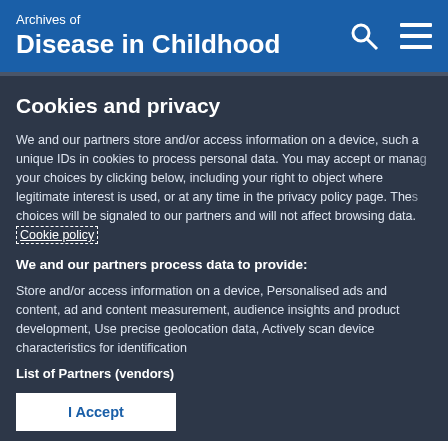Archives of Disease in Childhood
Cookies and privacy
We and our partners store and/or access information on a device, such as unique IDs in cookies to process personal data. You may accept or manage your choices by clicking below, including your right to object where legitimate interest is used, or at any time in the privacy policy page. These choices will be signaled to our partners and will not affect browsing data. Cookie policy
We and our partners process data to provide:
Store and/or access information on a device, Personalised ads and content, ad and content measurement, audience insights and product development, Use precise geolocation data, Actively scan device characteristics for identification
List of Partners (vendors)
I Accept